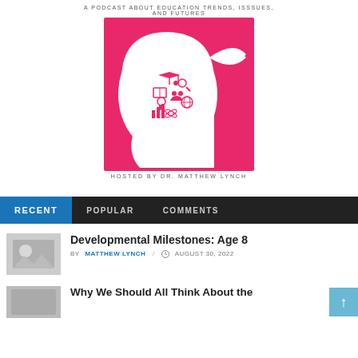A PODCAST ABOUT EDUCATION TRENDS, ISSSUES, AND FUTURES
[Figure (logo): Pink podcast logo with silhouette of a human head facing left, filled with education icons (books, graduation cap, globe, music notes, charts, computer, atom, magnifying glass)]
HOSTED BY DR. MATTHEW LYNCH
RECENT   POPULAR   COMMENTS
Developmental Milestones: Age 8
BY MATTHEW LYNCH / AUGUST 30, 2022
Why We Should All Think About the